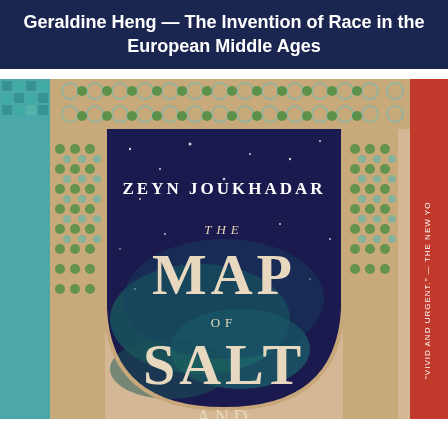Geraldine Heng — The Invention of Race in the European Middle Ages
[Figure (photo): Book cover of 'The Map of Salt and Stars' by Zeyn Joukhadar. The cover features an ornate Moorish arch with geometric tilework in teal and gold. Inside the arch is a deep blue-purple night sky with teal smoky wisps and stars. The title text reads: ZEYN JOUKHADAR / THE / MAP / OF / SALT / AND (partial). On the right edge is a partially visible red spine with rotated text reading 'VIVID AND URGENT. - THE NEW YO...']